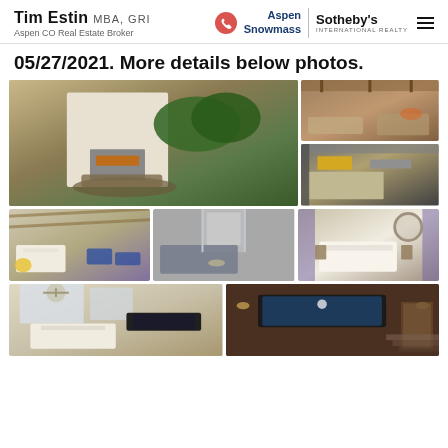Tim Estin MBA, GRI | Aspen CO Real Estate Broker | Aspen Snowmass Sotheby's International Realty
05/27/2021. More details below photos.
[Figure (photo): Grid of 8 real estate property photos showing outdoor fireplace patio, living room, kitchen, bedrooms, bathroom, and interior rooms of a luxury Aspen Colorado home]
More details below photos.